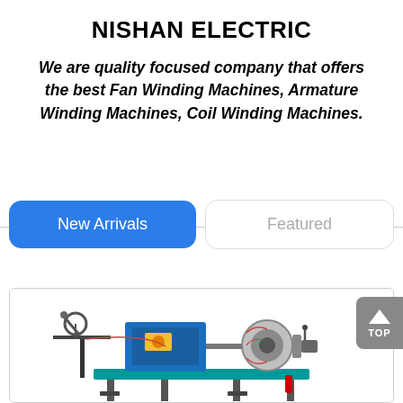NISHAN ELECTRIC
We are quality focused company that offers the best Fan Winding Machines, Armature Winding Machines, Coil Winding Machines.
New Arrivals | Featured
[Figure (photo): A blue armature winding machine on a stand, with mechanical components including a spool holder arm on the left and a stator/coil assembly on the right, positioned inside a product card with a gray border.]